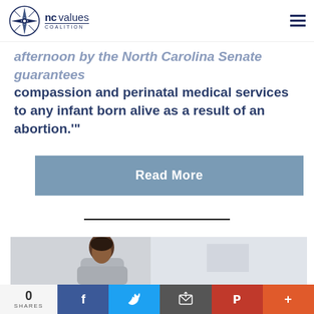[Figure (logo): NC Values Coalition logo with compass rose icon and text]
afternoon by the North Carolina Senate guarantees compassion and perinatal medical services to any infant born alive as a result of an abortion.'"
Read More
[Figure (photo): Woman looking down, wearing grey top, office background]
0 SHARES | Facebook | Twitter | Email | Pinterest | More